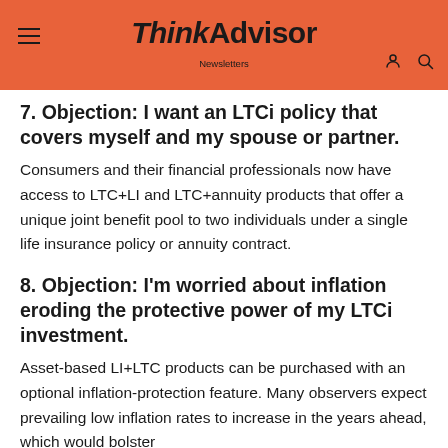ThinkAdvisor
7. Objection: I want an LTCi policy that covers myself and my spouse or partner.
Consumers and their financial professionals now have access to LTC+LI and LTC+annuity products that offer a unique joint benefit pool to two individuals under a single life insurance policy or annuity contract.
8. Objection: I'm worried about inflation eroding the protective power of my LTCi investment.
Asset-based LI+LTC products can be purchased with an optional inflation-protection feature. Many observers expect prevailing low inflation rates to increase in the years ahead, which would bolster